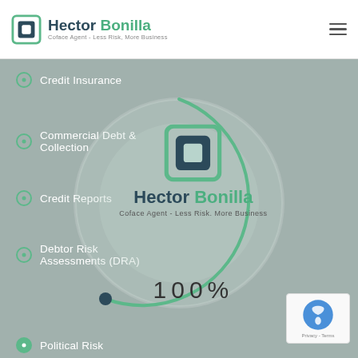[Figure (logo): Hector Bonilla Coface Agent logo in white header bar with hamburger menu icon]
Credit Insurance
Commercial Debt & Collection
[Figure (illustration): Circular loading spinner with Hector Bonilla logo centered inside, showing a green arc progress circle with a dark dot indicator]
Credit Reports
Debtor Risk Assessments (DRA)
Political Risk
100%
[Figure (logo): Google reCAPTCHA badge with Privacy and Terms links]